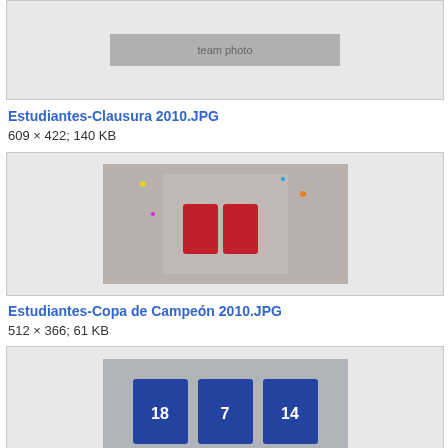[Figure (photo): Top portion of an image box showing a team photo (partially visible at top)]
Estudiantes-Clausura 2010.JPG
609 × 422; 140 KB
[Figure (photo): Photo of people celebrating, raising a trophy with confetti, wearing red and white jerseys]
Estudiantes-Copa de Campeón 2010.JPG
512 × 366; 61 KB
[Figure (photo): Partial view of soccer jerseys with numbers 18, 7, and 14 displayed on a table]